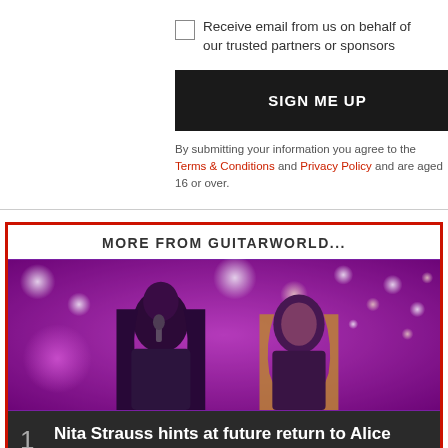Receive email from us on behalf of our trusted partners or sponsors
SIGN ME UP
By submitting your information you agree to the Terms & Conditions and Privacy Policy and are aged 16 or over.
MORE FROM GUITARWORLD...
[Figure (photo): Two performers on stage with purple/magenta lighting and bokeh lights in the background. One dark-haired performer holding a microphone and one blonde female performer.]
1 Nita Strauss hints at future return to Alice Cooper's band: "Everyone's saying it's a